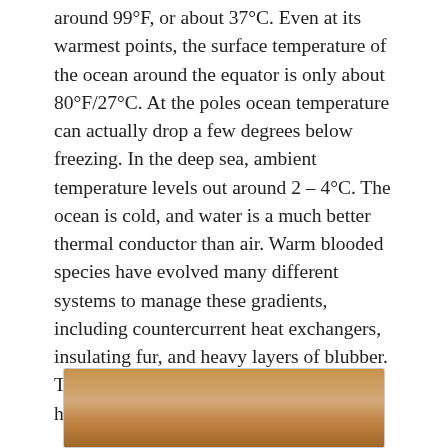around 99°F, or about 37°C. Even at its warmest points, the surface temperature of the ocean around the equator is only about 80°F/27°C. At the poles ocean temperature can actually drop a few degrees below freezing. In the deep sea, ambient temperature levels out around 2 – 4°C. The ocean is cold, and water is a much better thermal conductor than air. Warm blooded species have evolved many different systems to manage these gradients, including countercurrent heat exchangers, insulating fur, and heavy layers of blubber. This is what a marine mammal that can handle cold waters look like:
[Figure (photo): Partial photo of a marine mammal (appears to be a seal or walrus) visible at the bottom of the page, showing fur/skin texture in warm brown tones.]